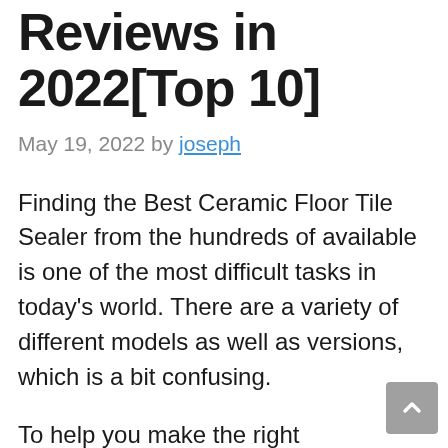Reviews in 2022[Top 10]
May 19, 2022 by joseph
Finding the Best Ceramic Floor Tile Sealer from the hundreds of available is one of the most difficult tasks in today’s world. There are a variety of different models as well as versions, which is a bit confusing.
To help you make the right choice, we have put together as much info as is possible about Top Ceramic Floor Tile Sealer currently trending to